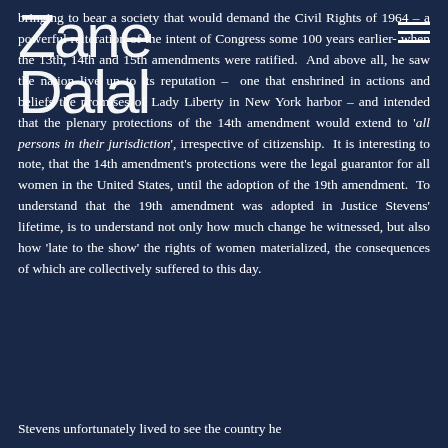Zane Dalal
bringing to bear a society that would demand the Civil Rights of 1964 – a powerful reiteration of the intent of Congress some 100 years earlier- when the 13th, 14th and 15th amendments were ratified. And above all, he saw the nation live up to its reputation – one that enshrined in actions and beliefs the promises of Lady Liberty in New York harbor – and intended that the plenary protections of the 14th amendment would extend to 'all persons in their jurisdiction', irrespective of citizenship. It is interesting to note, that the 14th amendment's protections were the legal guarantor for all women in the United States, until the adoption of the 19th amendment. To understand that the 19th amendment was adopted in Justice Stevens' lifetime, is to understand not only how much change he witnessed, but also how 'late to the show' the rights of women materialized, the consequences of which are collectively suffered to this day.
Stevens unfortunately lived to see the country he loved and had served slide backwards, retaining...